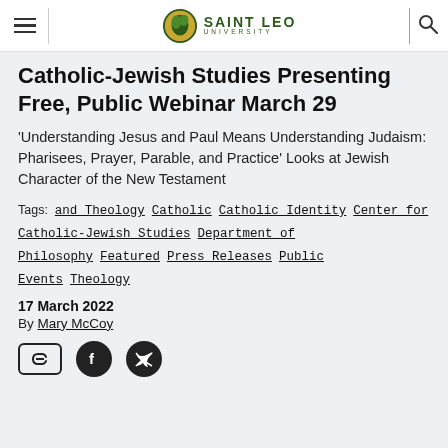Saint Leo University
Catholic-Jewish Studies Presenting Free, Public Webinar March 29
'Understanding Jesus and Paul Means Understanding Judaism: Pharisees, Prayer, Parable, and Practice' Looks at Jewish Character of the New Testament
Tags: and Theology  Catholic  Catholic Identity  Center for Catholic-Jewish Studies  Department of Philosophy  Featured  Press Releases  Public Events  Theology
17 March 2022
By Mary McCoy
[Figure (other): Social share icons: link, Facebook, Twitter]